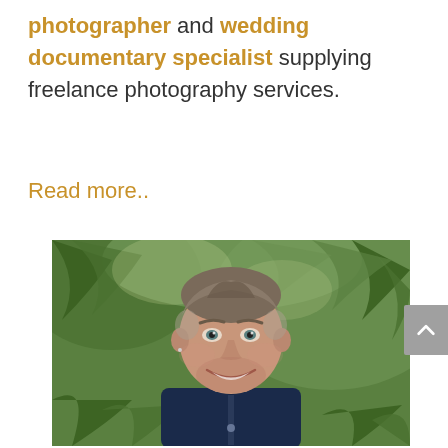photographer and wedding documentary specialist supplying freelance photography services.
Read more..
[Figure (photo): Portrait photo of a smiling middle-aged man with short hair wearing a dark navy shirt, standing in front of lush green fern foliage background.]